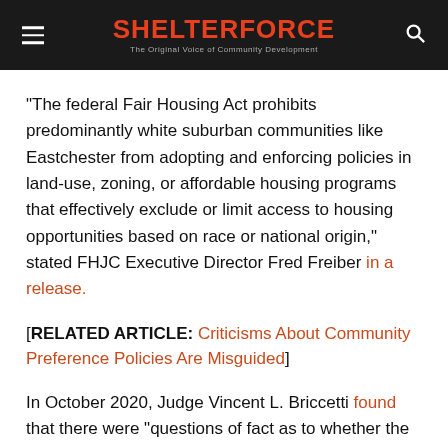SHELTERFORCE — The Original Voice of Community Development
“The federal Fair Housing Act prohibits predominantly white suburban communities like Eastchester from adopting and enforcing policies in land-use, zoning, or affordable housing programs that effectively exclude or limit access to housing opportunities based on race or national origin,” stated FHJC Executive Director Fred Freiber in a release.
[RELATED ARTICLE: Criticisms About Community Preference Policies Are Misguided]
In October 2020, Judge Vincent L. Briccetti found that there were “questions of fact as to whether the town’s residency preference will have an adverse disparate impact on Black and Hispanic renters and buyers” and noted that “the town